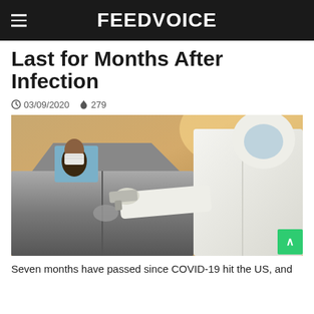FEEDVOICE
Last for Months After Infection
03/09/2020  279
[Figure (photo): A person wearing a mask sitting in a car while a healthcare worker in a white hazmat suit points a thermometer gun at them through the car window. Warm golden-toned background.]
Seven months have passed since COVID-19 hit the US, and